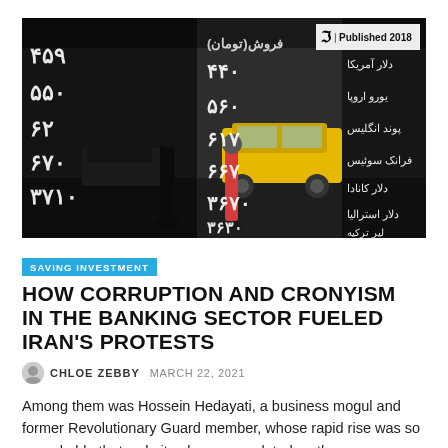[Figure (photo): Street scene in Iran showing pedestrians walking in front of a large currency exchange board displaying Farsi numerals and currency names, with a yellow taxi cab visible in the background. A 'Published 2018' badge with NYT logo appears in the top right corner of the image.]
SAVING INVESTMENT
HOW CORRUPTION AND CRONYISM IN THE BANKING SECTOR FUELED IRAN'S PROTESTS
CHLOE ZEBBY  MARCH 22, 2021
Among them was Hossein Hedayati, a business mogul and former Revolutionary Guard member, whose rapid rise was so remarkable that websites have speculated on the